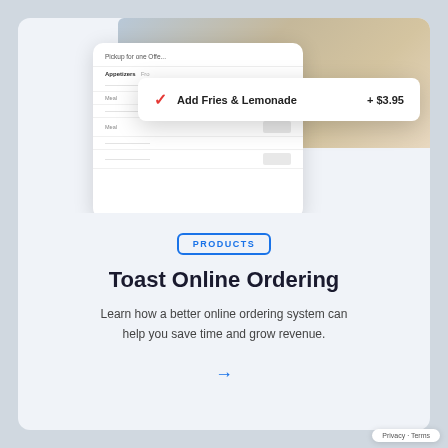[Figure (screenshot): App mockup showing a restaurant online ordering interface with an upsell popup: a red checkmark icon, 'Add Fries & Lemonade', '+ $3.95', overlaid on a restaurant photo background]
PRODUCTS
Toast Online Ordering
Learn how a better online ordering system can help you save time and grow revenue.
[Figure (other): Blue right-arrow icon indicating a link/navigation]
Privacy · Terms